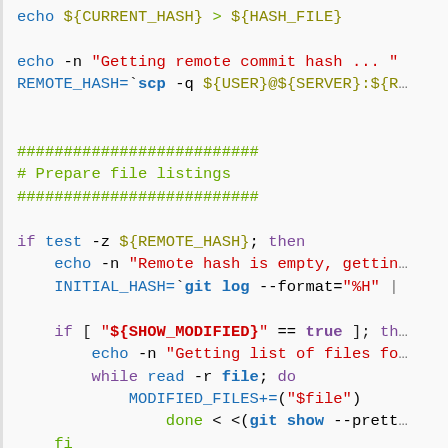[Figure (screenshot): Shell script source code snippet with syntax highlighting showing bash commands including echo, scp, git log, if/then/while/do constructs and variable references.]